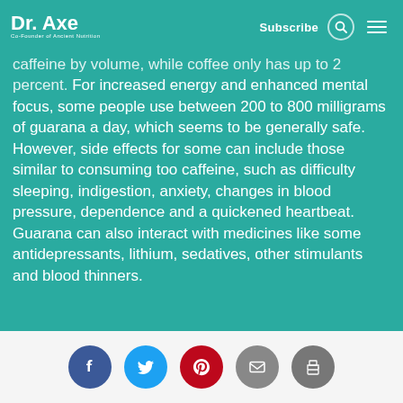Dr. Axe | Co-Founder of Ancient Nutrition | Subscribe
caffeine by volume, while coffee only has up to 2 percent. For increased energy and enhanced mental focus, some people use between 200 to 800 milligrams of guarana a day, which seems to be generally safe. However, side effects for some can include those similar to consuming too caffeine, such as difficulty sleeping, indigestion, anxiety, changes in blood pressure, dependence and a quickened heartbeat. Guarana can also interact with medicines like some antidepressants, lithium, sedatives, other stimulants and blood thinners.
[Figure (infographic): Social sharing icons: Facebook (blue circle with f), Twitter (teal circle with bird), Pinterest (red circle with P), Email (gray circle with envelope), Print (gray circle with printer)]